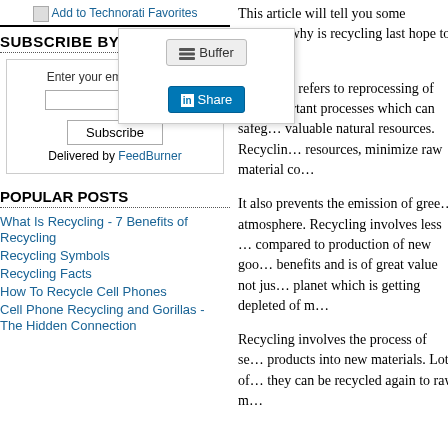[Figure (logo): Add to Technorati Favorites link with icon]
[Figure (screenshot): Buffer share button popup overlay]
[Figure (screenshot): LinkedIn Share button inside popup]
SUBSCRIBE BY EMAIL
Enter your email address:
Subscribe
Delivered by FeedBurner
POPULAR POSTS
What Is Recycling - 7 Benefits of Recycling
Recycling Symbols
Recycling Facts
How To Recycle Cell Phones
Cell Phone Recycling and Gorillas - The Hidden Connection
This article will tell you some recycl... why is recycling last hope to save ou...
Recycling refers to reprocessing of u... important processes which can safeg... valuable natural resources. Recyclin... resources, minimize raw material co...
It also prevents the emission of gree... atmosphere. Recycling involves less ... compared to production of new goo... benefits and is of great value not jus... planet which is getting depleted of m...
Recycling involves the process of se... products into new materials. Lots of... they can be recycled again to raw m...